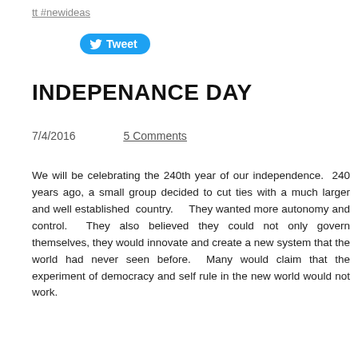tt #newideas
[Figure (other): Twitter Tweet button in blue rounded rectangle]
INDEPENANCE DAY
7/4/2016     5 Comments
We will be celebrating the 240th year of our independence.  240 years ago, a small group decided to cut ties with a much larger and well established  country.    They wanted more autonomy and control.  They also believed they could not only govern themselves, they would innovate and create a new system that the world had never seen before.  Many would claim that the experiment of democracy and self rule in the new world would not work.